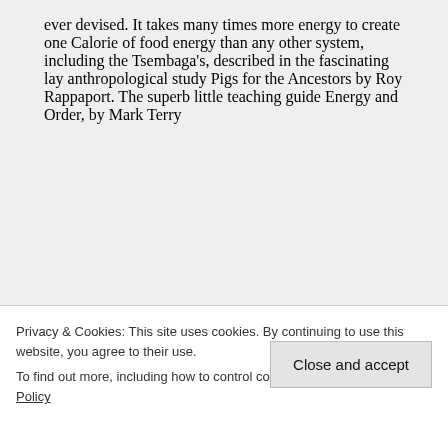ever devised. It takes many times more energy to create one Calorie of food energy than any other system, including the Tsembaga's, described in the fascinating lay anthropological study Pigs for the Ancestors by Roy Rappaport. The superb little teaching guide Energy and Order, by Mark Terry
Privacy & Cookies: This site uses cookies. By continuing to use this website, you agree to their use.
To find out more, including how to control cookies, see here: Cookie Policy
[Close and accept]
our industrial waste... or food